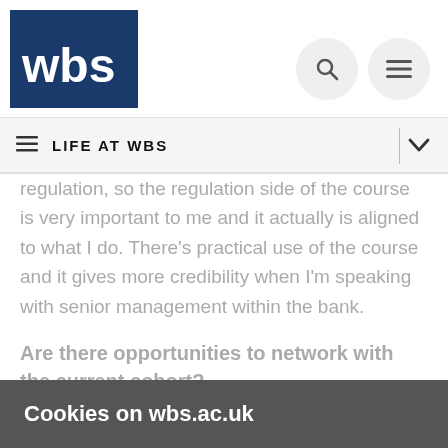[Figure (logo): WBS (Warwick Business School) logo — white letters 'wbs' on dark blue square background]
LIFE AT WBS
regulation, so the regulation side of the course is very important to me and it actually is aligned to what I do. There's practical use of the course and it gives more credibility when I'm speaking with senior management within the bank.
Are there opportunities to network with the current cohort?
We have a WhatsApp group for the cohort which we use as an additional support for asking questions, floating ideas and just
Cookies on wbs.ac.uk